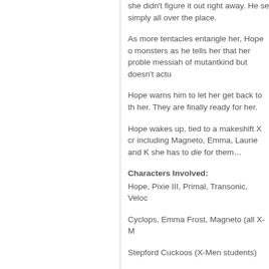she didn't figure it out right away. He se simply all over the place.
As more tentacles entangle her, Hope o monsters as he tells her that her proble messiah of mutantkind but doesn't actu
Hope warns him to let her get back to th her. They are finally ready for her.
Hope wakes up, tied to a makeshift X cr including Magneto, Emma, Laurie and K she has to die for them…
Characters Involved:
Hope, Pixie III, Primal, Transonic, Veloc
Cyclops, Emma Frost, Magneto (all X-M
Stepford Cuckoos (X-Men students)
Sebastian Shaw
Bliss, Dragoness, Erg, Litterbug, Rande